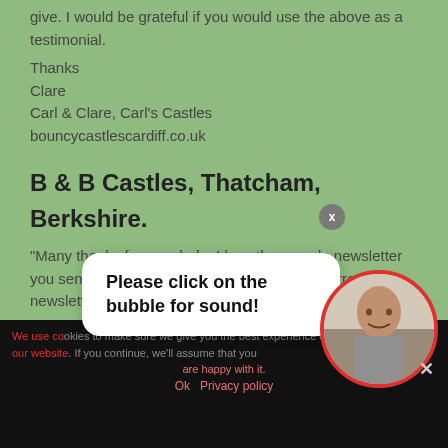give. I would be grateful if you would use the above as a testimonial.
Thanks
Clare
Carl & Clare, Carl's Castles
bouncycastlescardiff.co.uk
B & B Castles, Thatcham, Berkshire.
"Many thanks for your help, I love the sample newsletter you sent me on Friday, can't wait to receive current newsletter."
Tara Eggleton.
B & B Castles.
Please click on the bubble for sound!
We use co... our website... are happy with it.
Ok   Privacy policy